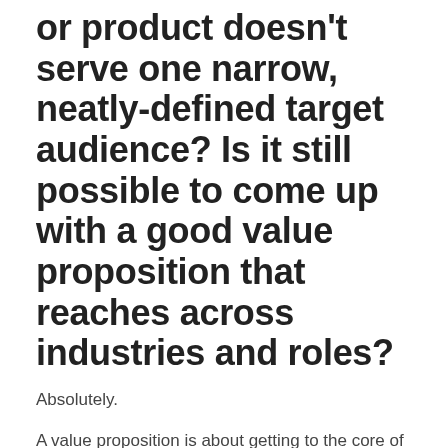or product doesn't serve one narrow, neatly-defined target audience? Is it still possible to come up with a good value proposition that reaches across industries and roles?
Absolutely.
A value proposition is about getting to the core of who you serve and what you do for them.
For most businesses, at a fundamental level, this proposition is the same for different customer segments or industries, and your particular strengths or the innovative ways you do things tend to apply across all audiences.